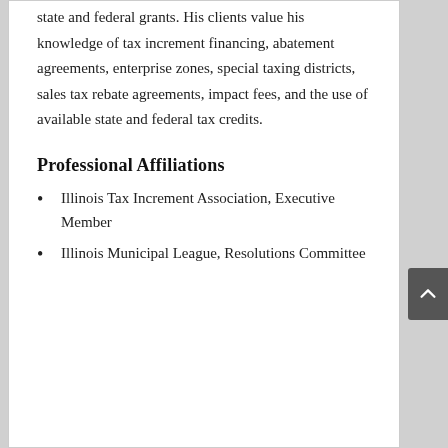state and federal grants. His clients value his knowledge of tax increment financing, abatement agreements, enterprise zones, special taxing districts, sales tax rebate agreements, impact fees, and the use of available state and federal tax credits.
Professional Affiliations
Illinois Tax Increment Association, Executive Member
Illinois Municipal League, Resolutions Committee